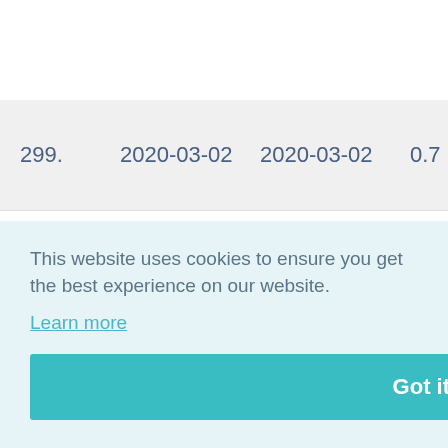| # | Date from | Date to | Value | Extra |
| --- | --- | --- | --- | --- |
| 299. | 2020-03-02 | 2020-03-02 | 0.7 | 19… |
| 300. | 2020-02-25 | 2020-02-28 | 0.67 | 20… |
|  |  |  |  | 20… |
|  |  |  |  | 20… |
This website uses cookies to ensure you get the best experience on our website.
Learn more
Got it!